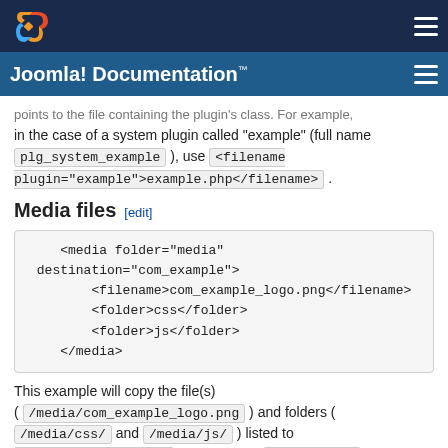Joomla! Documentation™
points to the file containing the plugin's class. For example, in the case of a system plugin called "example" (full name plg_system_example ), use <filename plugin="example">example.php</filename> .
Media files [edit]
<media folder="media" destination="com_example">
        <filename>com_example_logo.png</filename>
        <folder>css</folder>
        <folder>js</folder>
    </media>
This example will copy the file(s) ( /media/com_example_logo.png ) and folders ( /media/css/ and /media/js/ ) listed to /media/com_example/ , creating the com_example folder if